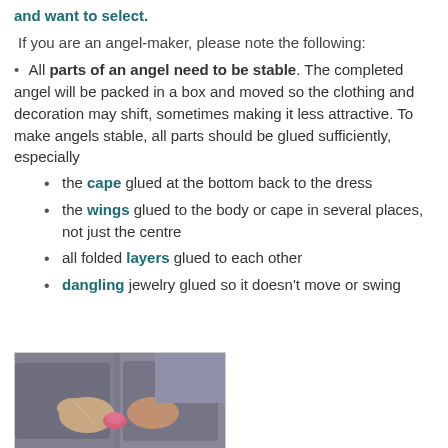and want to select.
If you are an angel-maker, please note the following:
All parts of an angel need to be stable. The completed angel will be packed in a box and moved so the clothing and decoration may shift, sometimes making it less attractive. To make angels stable, all parts should be glued sufficiently, especially
the cape glued at the bottom back to the dress
the wings glued to the body or cape in several places, not just the centre
all folded layers glued to each other
dangling jewelry glued so it doesn't move or swing
[Figure (photo): Hands holding or working on a small object, likely crafting an angel decoration]